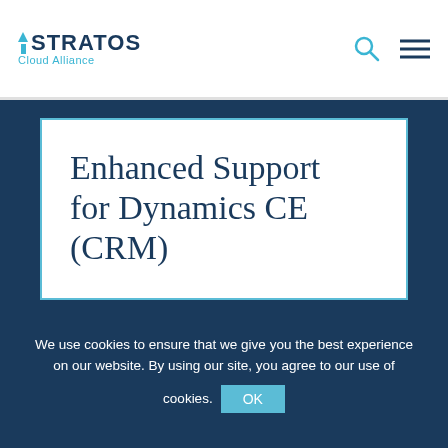STRATOS Cloud Alliance
Enhanced Support for Dynamics CE (CRM)
Get In Touch
We use cookies to ensure that we give you the best experience on our website. By using our site, you agree to our use of cookies.